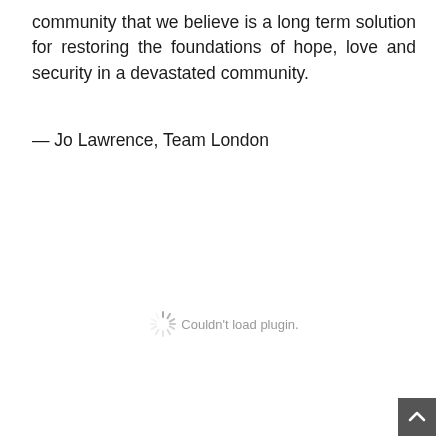community that we believe is a long term solution for restoring the foundations of hope, love and security in a devastated community.
— Jo Lawrence, Team London
Couldn't load plugin.
[Figure (other): Back to top button — dark square with upward-pointing chevron arrow]